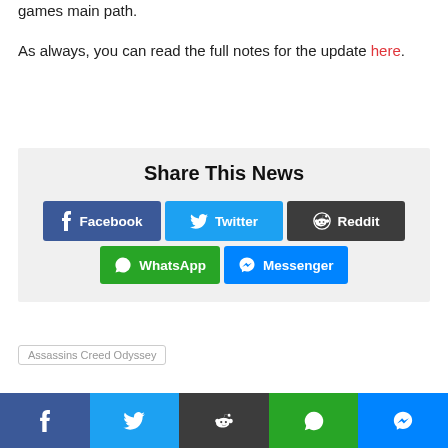games main path.
As always, you can read the full notes for the update here.
Share This News
Assassins Creed Odyssey